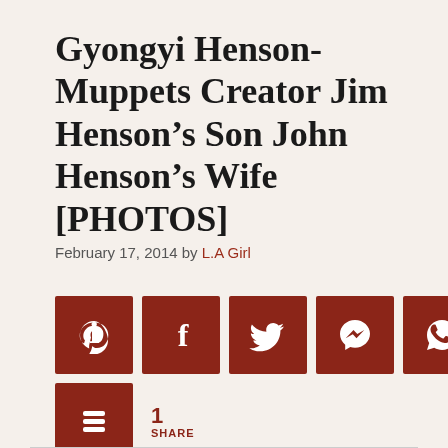Gyongyi Henson- Muppets Creator Jim Henson’s Son John Henson’s Wife [PHOTOS]
February 17, 2014 by L.A Girl
[Figure (infographic): Row of 7 dark red square social sharing buttons with white icons: Pinterest, Facebook, Twitter, Messenger, WhatsApp, Reddit, Pocket. Below: a Buffer/layers button and '1 SHARE' count in dark red.]